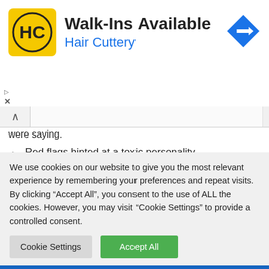[Figure (advertisement): Hair Cuttery ad banner with yellow logo, 'Walk-Ins Available' text, and navigation arrow icon]
were saying.
Red flags hinted at a toxic personality.
The person avoided questions rather than answering them frankly.
If you observe any of the above signs, it is best to avoid a
We use cookies on our website to give you the most relevant experience by remembering your preferences and repeat visits. By clicking “Accept All”, you consent to the use of ALL the cookies. However, you may visit "Cookie Settings" to provide a controlled consent.